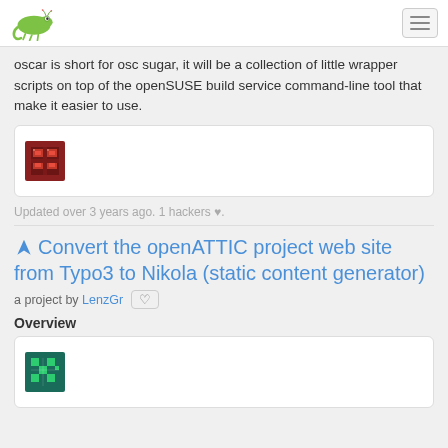[openSUSE logo] [hamburger menu]
oscar is short for osc sugar, it will be a collection of little wrapper scripts on top of the openSUSE build service command-line tool that make it easier to use.
[Figure (screenshot): Card with a pixel-art style icon resembling a ladder/building on a dark red background]
Updated over 3 years ago. 1 hackers ♥.
Convert the openATTIC project web site from Typo3 to Nikola (static content generator)
a project by LenzGr ♡
Overview
[Figure (screenshot): Card with a pixel-art style icon on dark teal/green background with checkerboard pattern]